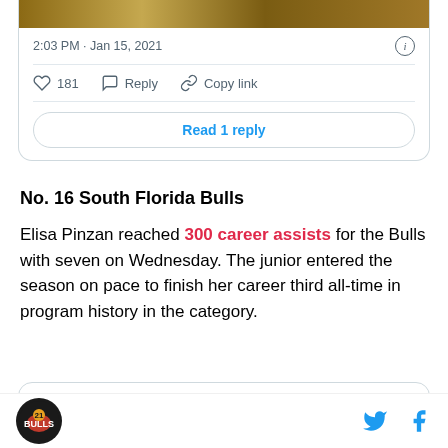[Figure (screenshot): Top portion of a tweet card showing timestamp '2:03 PM · Jan 15, 2021', an info icon, action buttons for Like (181), Reply, Copy link, and a 'Read 1 reply' button.]
No. 16 South Florida Bulls
Elisa Pinzan reached 300 career assists for the Bulls with seven on Wednesday. The junior entered the season on pace to finish her career third all-time in program history in the category.
[Figure (screenshot): Bottom portion of a tweet card showing USF W. Basketball verified account avatar and name, Twitter bird icon, and partial handle @USFWBB · Follow]
Footer bar with team logo on left, Twitter and Facebook social icons on right